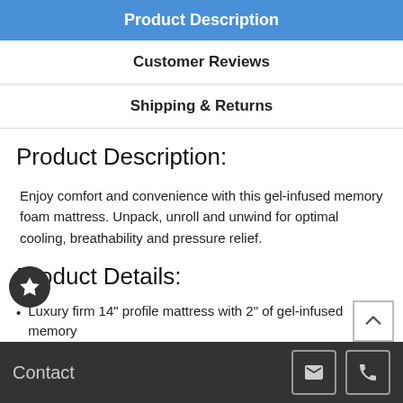Product Description
Customer Reviews
Shipping & Returns
Product Description:
Enjoy comfort and convenience with this gel-infused memory foam mattress. Unpack, unroll and unwind for optimal cooling, breathability and pressure relief.
Product Details:
Luxury firm 14" profile mattress with 2" of gel-infused memory
Contact